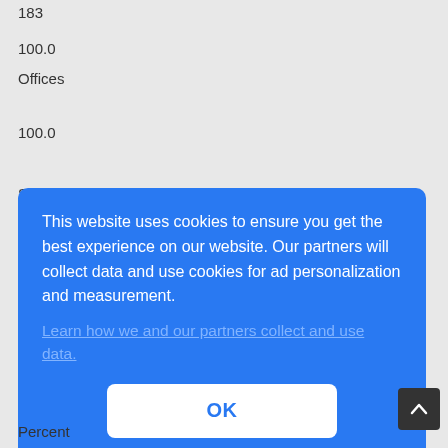183
100.0
Offices
100.0
Strong agree
Total
Cumulative
This website uses cookies to ensure you get the best experience on our website. Our partners will collect data and use cookies for ad personalization and measurement.
Learn how we and our partners collect and use data.
OK
Percent